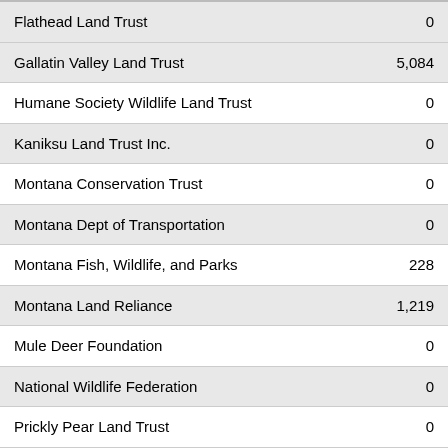| Organization | Value |
| --- | --- |
| Flathead Land Trust | 0 |
| Gallatin Valley Land Trust | 5,084 |
| Humane Society Wildlife Land Trust | 0 |
| Kaniksu Land Trust Inc. | 0 |
| Montana Conservation Trust | 0 |
| Montana Dept of Transportation | 0 |
| Montana Fish, Wildlife, and Parks | 228 |
| Montana Land Reliance | 1,219 |
| Mule Deer Foundation | 0 |
| National Wildlife Federation | 0 |
| Prickly Pear Land Trust | 0 |
| Rattlesnake Land Trust | 0 |
| Rocky Mountain Elk Foundation | 248 |